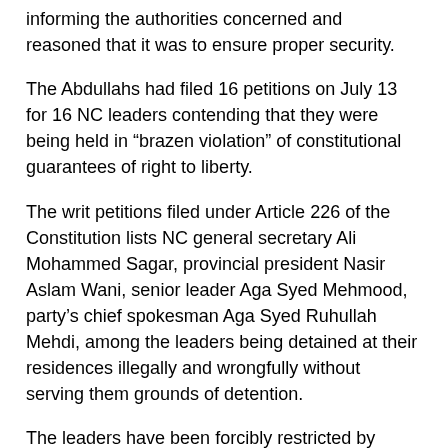informing the authorities concerned and reasoned that it was to ensure proper security.
The Abdullahs had filed 16 petitions on July 13 for 16 NC leaders contending that they were being held in “brazen violation” of constitutional guarantees of right to liberty.
The writ petitions filed under Article 226 of the Constitution lists NC general secretary Ali Mohammed Sagar, provincial president Nasir Aslam Wani, senior leader Aga Syed Mehmood, party’s chief spokesman Aga Syed Ruhullah Mehdi, among the leaders being detained at their residences illegally and wrongfully without serving them grounds of detention.
The leaders have been forcibly restricted by police personnel stationed outside their residences for the past 11 months.